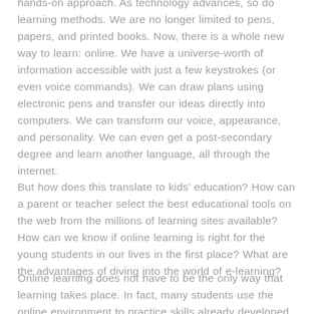hands-on approach. As technology advances, so do learning methods. We are no longer limited to pens, papers, and printed books. Now, there is a whole new way to learn: online. We have a universe-worth of information accessible with just a few keystrokes (or even voice commands). We can draw plans using electronic pens and transfer our ideas directly into computers. We can transform our voice, appearance, and personality. We can even get a post-secondary degree and learn another language, all through the internet.
But how does this translate to kids' education? How can a parent or teacher select the best educational tools on the web from the millions of learning sites available? How can we know if online learning is right for the young students in our lives in the first place? What are the advantages of diving into the world of e-learning?
Online learning does not have to be the only way that learning takes place. In fact, many students use the online environment to practice skills already developed in a more traditional educational atmosphere. For example, children